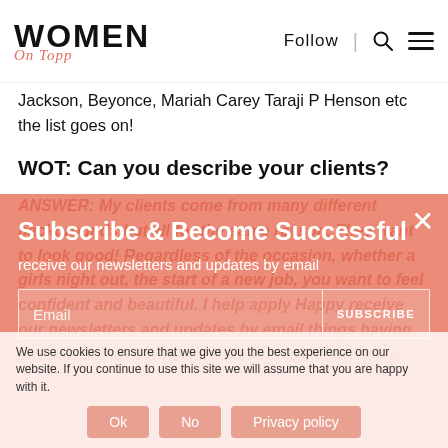Women On Topp — Follow | [Search] [Menu]
Jackson, Beyonce, Mariah Carey Taraji P Henson etc the list goes on!
WOT: Can you describe your clients?
[Figure (screenshot): Salmon/coral colored subscription overlay panel with 'Subscribe & Become Successful' heading, 'receive our newsletters and updates by email' subtext, and an Email input field with SUBSCRIBE button. A close (X) button appears top-right.]
Subscribe & Become Successful
receive our newsletters and updates by email
We use cookies to ensure that we give you the best experience on our website. If you continue to use this site we will assume that you are happy with it.
Ok   No   Privacy policy